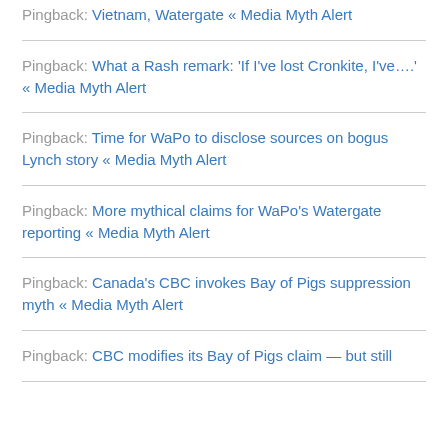Pingback: Vietnam, Watergate « Media Myth Alert
Pingback: What a Rash remark: 'If I've lost Cronkite, I've….' « Media Myth Alert
Pingback: Time for WaPo to disclose sources on bogus Lynch story « Media Myth Alert
Pingback: More mythical claims for WaPo's Watergate reporting « Media Myth Alert
Pingback: Canada's CBC invokes Bay of Pigs suppression myth « Media Myth Alert
Pingback: CBC modifies its Bay of Pigs claim — but still